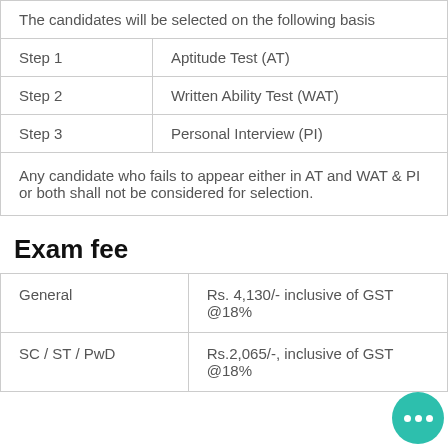| The candidates will be selected on the following basis |  |
| Step 1 | Aptitude Test (AT) |
| Step 2 | Written Ability Test (WAT) |
| Step 3 | Personal Interview (PI) |
| Any candidate who fails to appear either in AT and WAT & PI or both shall not be considered for selection. |  |
Exam fee
| General | Rs. 4,130/- inclusive of GST @18% |
| SC / ST / PwD | Rs.2,065/-, inclusive of GST @18% |